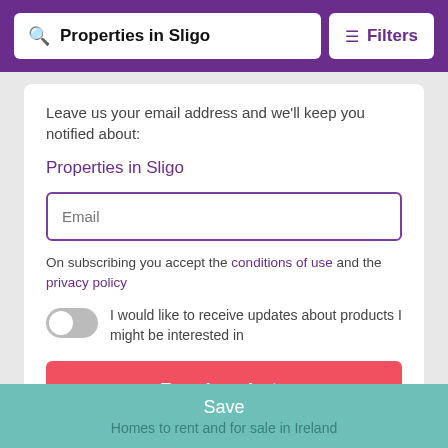Properties in Sligo | Filters
Leave us your email address and we'll keep you notified about:
Properties in Sligo
Email
On subscribing you accept the conditions of use and the privacy policy
I would like to receive updates about products I might be interested in
Receive alerts
Save
Homes to rent and for sale in Ireland